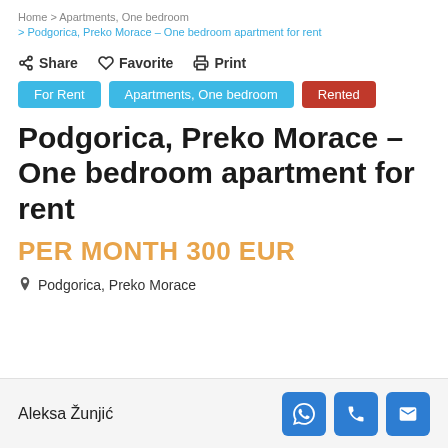Home > Apartments, One bedroom > Podgorica, Preko Morace – One bedroom apartment for rent
Share  Favorite  Print
For Rent  Apartments, One bedroom  Rented
Podgorica, Preko Morace – One bedroom apartment for rent
PER MONTH 300 EUR
Podgorica, Preko Morace
Aleksa Žunjić